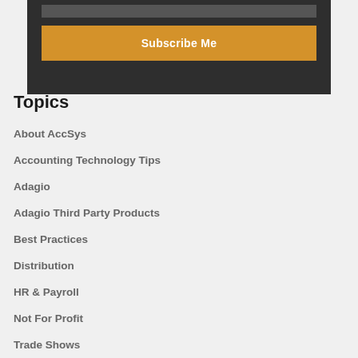[Figure (screenshot): Dark box with an input bar and a golden 'Subscribe Me' button]
Topics
About AccSys
Accounting Technology Tips
Adagio
Adagio Third Party Products
Best Practices
Distribution
HR & Payroll
Not For Profit
Trade Shows